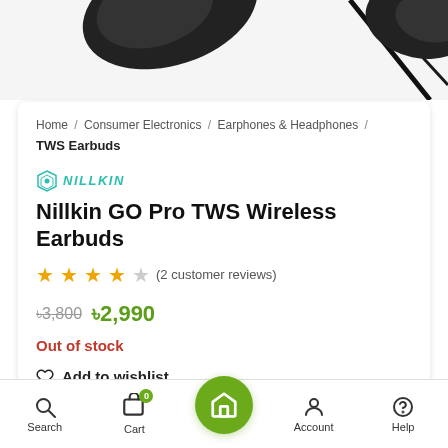[Figure (photo): Partial top view of black TWS wireless earbuds product photo, cropped at the bottom of the image area]
Home / Consumer Electronics / Earphones & Headphones / TWS Earbuds
[Figure (logo): Nillkin brand logo in teal — hexagon icon and Nillkin text]
Nillkin GO Pro TWS Wireless Earbuds
★★★★☆ (2 customer reviews)
৳3,800  ৳2,990
Out of stock
♡ Add to wishlist
Search  Cart  Home  Account  Help